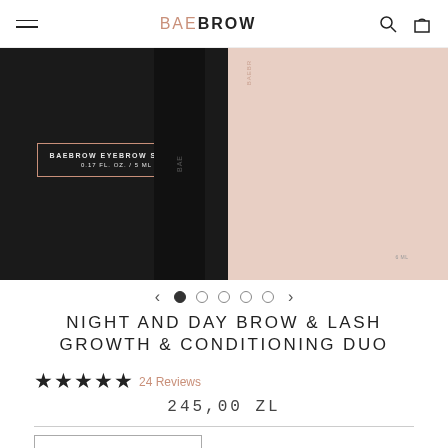BAEBROW
[Figure (photo): Two BAEBROW product bottles/serums — a dark bottle labeled 'BAEBROW EYEBROW SERUM 0.17 FL. OZ. / 5 ML' on the left, and a light pink bottle on the right, side by side on white background.]
NIGHT AND DAY BROW & LASH GROWTH & CONDITIONING DUO
★★★★★ 24 Reviews
245,00 ZL
− 1 +